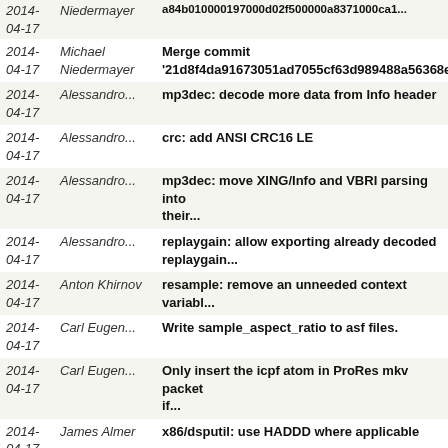| Date | Author | Commit Message |
| --- | --- | --- |
| 2014-04-17 | Niedermayer | a84b010000197000d02f500000a8371000ca1... |
| 2014-04-17 | Michael Niedermayer | Merge commit '21d8f4da91673051ad7055cf63d989488a56368e |
| 2014-04-17 | Alessandro... | mp3dec: decode more data from Info header |
| 2014-04-17 | Alessandro... | crc: add ANSI CRC16 LE |
| 2014-04-17 | Alessandro... | mp3dec: move XING/Info and VBRI parsing into their... |
| 2014-04-17 | Alessandro... | replaygain: allow exporting already decoded replaygain... |
| 2014-04-17 | Anton Khirnov | resample: remove an unneeded context variabl... |
| 2014-04-17 | Carl Eugen... | Write sample_aspect_ratio to asf files. |
| 2014-04-17 | Carl Eugen... | Only insert the icpf atom in ProRes mkv packet if... |
| 2014-04-17 | James Almer | x86/dsputil: use HADDD where applicable |
| 2014-04-17 | James Almer | x86: move horizontal add macros to x86util |
| 2014-04-17 | Michael Niedermayer | Merge commit 'f1b239ec8b38474d31f3bfea1f0b1693774fa432' |
| 2014-04-16 | Luca Barbato | drawtext: Add fontconfig support |
| 2014-04-16 | Anh | Fix compilation with --disable-everything --enable... |